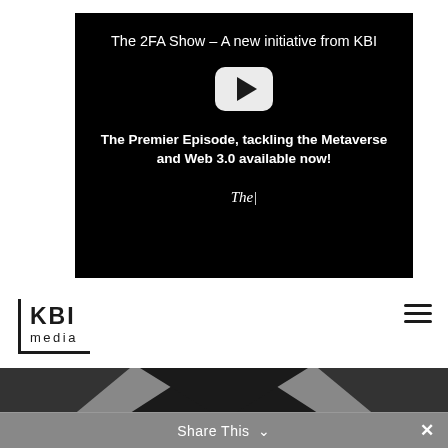[Figure (screenshot): YouTube-style video thumbnail on black background showing title 'The 2FA Show – A new initiative from KBI', a white play button, subtitle 'The Premier Episode, tackling the Metaverse and Web 3.0 available now!', and italic text 'The|']
[Figure (logo): KBI media logo with bold KBI text and 'media' underneath, enclosed in partial border (left and bottom)]
[Figure (infographic): Hamburger menu icon (three horizontal lines) on right side]
[Figure (infographic): Dark footer band with grey chevron/V-shape decoration and grey share bar at bottom reading 'Share This' with down chevron and X close button]